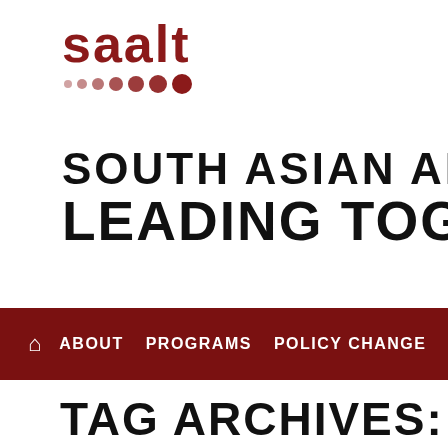[Figure (logo): SAALT logo with red text and dot pattern]
SOUTH ASIAN AMERICANS LEADING TOGETHER
Home | ABOUT | PROGRAMS | POLICY CHANGE | THE C...
TAG ARCHIVES: WORL...
SAALT STATEMENT ON 18TH ANNIV...
Posted on September 11, 2019 by SAALT